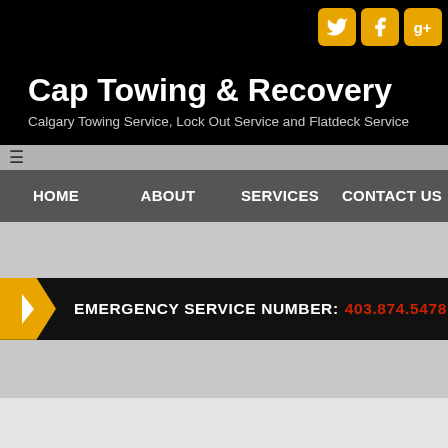[Figure (screenshot): Social media icons for Twitter, Facebook, and Google+ in yellow/orange rounded square buttons in top-right corner]
Cap Towing & Recovery
Calgary Towing Service, Lock Out Service and Flatdeck Service
HOME    ABOUT    SERVICES    CONTACT US
EMERGENCY SERVICE NUMBER: 403.874.5478
About Us